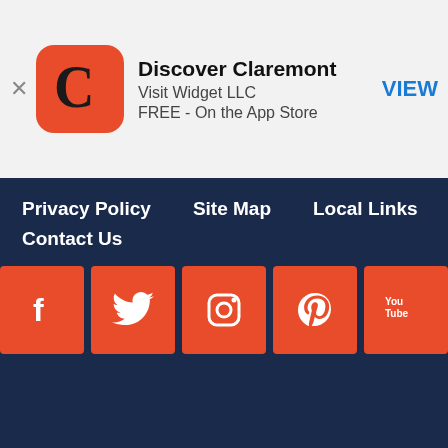[Figure (screenshot): App banner for 'Discover Claremont' by Visit Widget LLC, FREE on the App Store, with VIEW button]
Discover Claremont
Visit Widget LLC
FREE - On the App Store
VIEW
Privacy Policy   Site Map   Local Links
Contact Us
[Figure (infographic): Social media icons: Facebook, Twitter, Instagram, Pinterest, YouTube — all in orange-red square buttons]
[Figure (logo): Claremont California city seal (circular, gray, 1887) and Claremont Chamber logo]
We use cookies on our website to give you the most relevant experience by remembering your preferences and repeat visits. By clicking “Accept”, you consent to the use of ALL the cookies.
Do not sell my personal information